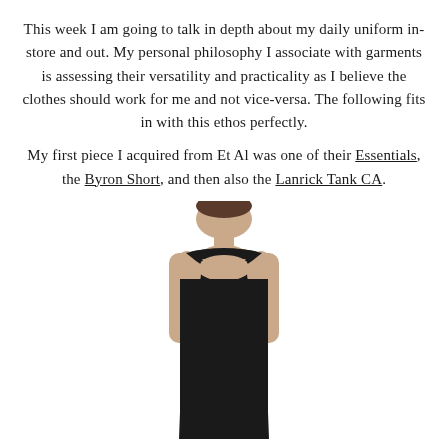This week I am going to talk in depth about my daily uniform in-store and out. My personal philosophy I associate with garments is assessing their versatility and practicality as I believe the clothes should work for me and not vice-versa. The following fits in with this ethos perfectly.

My first piece I acquired from Et Al was one of their Essentials, the Byron Short, and then also the Lanrick Tank CA.
[Figure (photo): A person wearing a black sleeveless tank top/dress, shown from approximately the shoulders down, standing against a white background.]